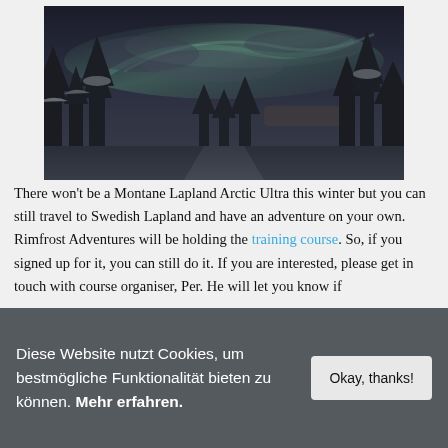[Figure (photo): Northern lights (aurora borealis) over a snow-covered forest at night, with dark sky and green aurora streaks visible above dark coniferous trees covered in snow.]
There won't be a Montane Lapland Arctic Ultra this winter but you can still travel to Swedish Lapland and have an adventure on your own. Rimfrost Adventures will be holding the training course. So, if you signed up for it, you can still do it. If you are interested, please get in touch with course organiser, Per. He will let you know if
Diese Website nutzt Cookies, um bestmögliche Funktionalität bieten zu können. Mehr erfahren.